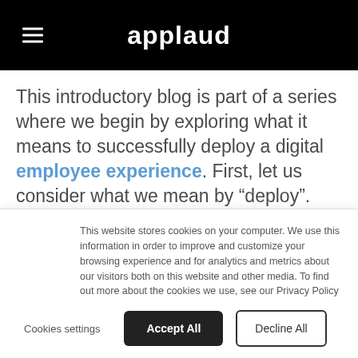applaud
This introductory blog is part of a series where we begin by exploring what it means to successfully deploy a digital employee experience. First, let us consider what we mean by “deploy”. Merriam-Webster says deploy means to spread out, utilize, or arrange for a deliberate purpose. That doesn’t sound
This website stores cookies on your computer. We use this information in order to improve and customize your browsing experience and for analytics and metrics about our visitors both on this website and other media. To find out more about the cookies we use, see our Privacy Policy
Cookies settings
Accept All
Decline All